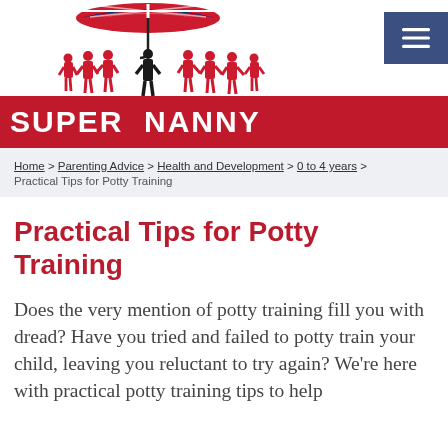[Figure (logo): Supernanny logo: red silhouettes of a nanny with umbrella and children under a Union Jack umbrella, with 'SUPER NANNY' text on a red banner]
Home > Parenting Advice > Health and Development > 0 to 4 years > Practical Tips for Potty Training
Practical Tips for Potty Training
Does the very mention of potty training fill you with dread? Have you tried and failed to potty train your child, leaving you reluctant to try again? We're here with practical potty training tips to help